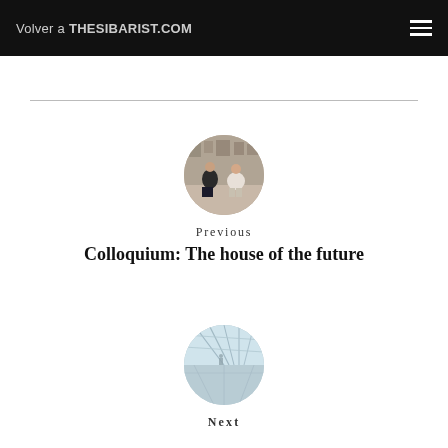Volver a THESIBARIST.COM
[Figure (photo): Circular thumbnail photo showing people sitting in a gallery or event space]
Previous
Colloquium: The house of the future
[Figure (photo): Circular thumbnail photo showing a modern glass interior architectural space]
Next